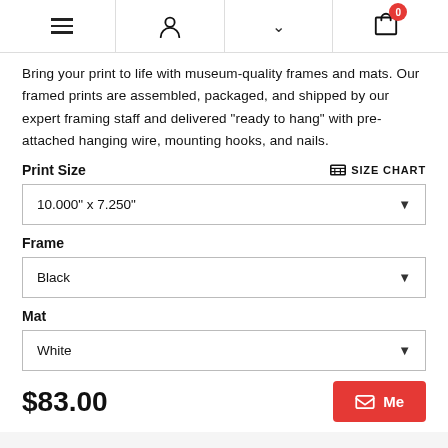[navigation icons: menu, user, chevron, cart (0)]
Bring your print to life with museum-quality frames and mats. Our framed prints are assembled, packaged, and shipped by our expert framing staff and delivered "ready to hang" with pre-attached hanging wire, mounting hooks, and nails.
Print Size
SIZE CHART
10.000" x 7.250"
Frame
Black
Mat
White
$83.00
Me